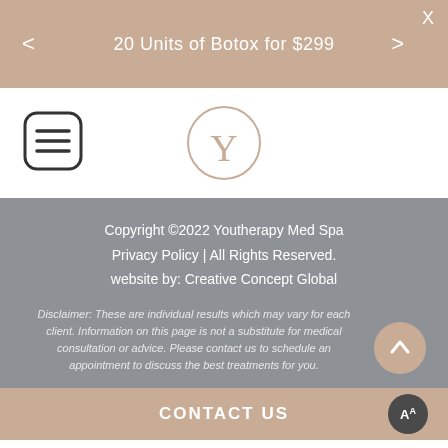20 Units of Botox for $299
[Figure (logo): Youtherapy Med Spa logo: circle with stylized Y letter in tan/beige color]
Copyright ©2022 Youtherapy Med Spa
Privacy Policy | All Rights Reserved.
website by: Creative Concept Global
Disclaimer: These are individual results which may vary for each client. Information on this page is not a substitute for medical consultation or advice. Please contact us to schedule an appointment to discuss the best treatments for you.
CONTACT US